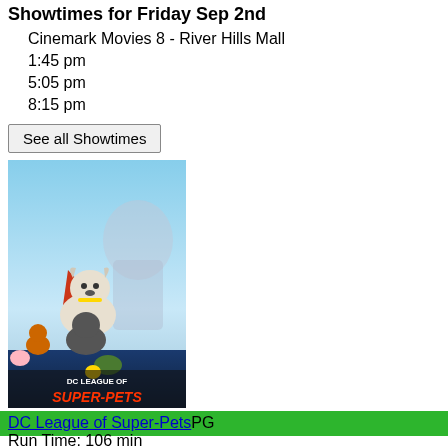Showtimes for Friday Sep 2nd
Cinemark Movies 8 - River Hills Mall
1:45 pm
5:05 pm
8:15 pm
See all Showtimes
[Figure (photo): Movie poster for DC League of Super-Pets showing animated animal superheroes]
DC League of Super-Pets PG
Run Time: 106 min
Showtimes for Friday Sep 2nd
Cinemark Movies 8 - River Hills Mall
12:45 pm
3:40 pm